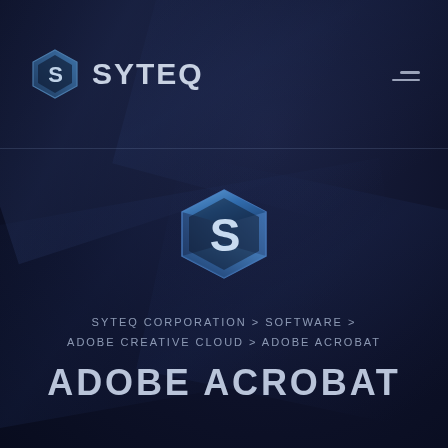[Figure (logo): SYTEQ logo in top-left header area — hexagonal S icon in blue/steel tones followed by SYTEQ wordmark in white/grey letters]
[Figure (logo): SYTEQ hexagonal S icon centered in the lower content area, larger version in blue metallic tones]
SYTEQ CORPORATION > SOFTWARE >
ADOBE CREATIVE CLOUD > ADOBE ACROBAT
ADOBE ACROBAT